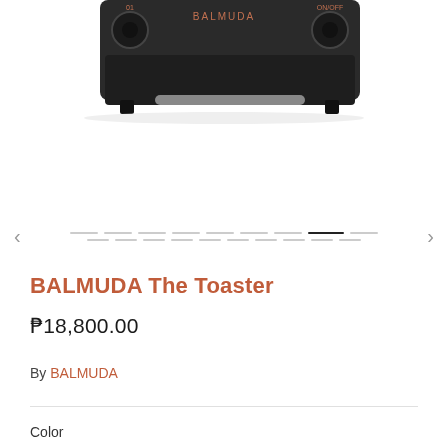[Figure (photo): Bottom portion of a BALMUDA The Toaster appliance in dark/black color with copper-toned knobs and brand lettering, photographed against white background]
BALMUDA The Toaster
₱18,800.00
By BALMUDA
Color